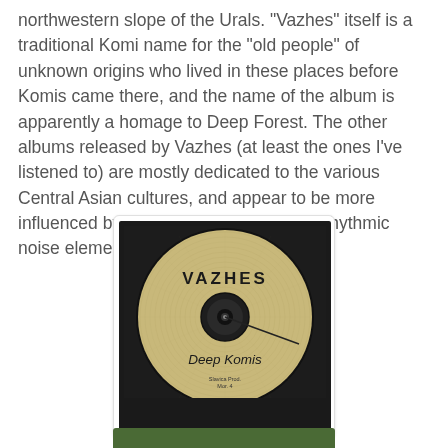northwestern slope of the Urals. "Vazhes" itself is a traditional Komi name for the "old people" of unknown origins who lived in these places before Komis came there, and the name of the album is apparently a homage to Deep Forest. The other albums released by Vazhes (at least the ones I've listened to) are mostly dedicated to the various Central Asian cultures, and appear to be more influenced by Muslimgauze (with some rhythmic noise elements).
[Figure (photo): A CD disc in a jewel case. The disc label is tan/cream colored with concentric ring texture, showing 'VAZHES' in bold black text at the top and 'Deep Komis' in italic black text at the bottom center. A small label text reads 'Slavica Prod. Mor. 4' near the bottom. The disc hub and inner ring are black.]